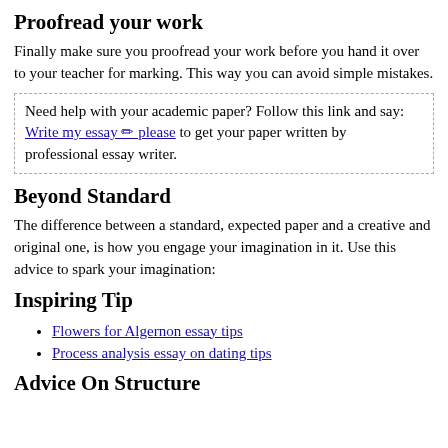Proofread your work
Finally make sure you proofread your work before you hand it over to your teacher for marking. This way you can avoid simple mistakes.
Need help with your academic paper? Follow this link and say: Write my essay ✏ please to get your paper written by professional essay writer.
Beyond Standard
The difference between a standard, expected paper and a creative and original one, is how you engage your imagination in it. Use this advice to spark your imagination:
Inspiring Tip
Flowers for Algernon essay tips
Process analysis essay on dating tips
Advice On Structure